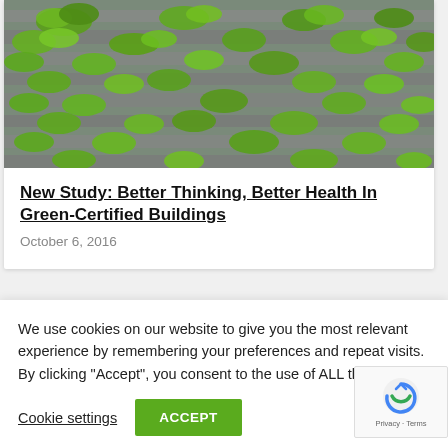[Figure (photo): Green building facade with plants and vegetation growing on concrete terraces and balconies]
New Study: Better Thinking, Better Health In Green-Certified Buildings
October 6, 2016
We use cookies on our website to give you the most relevant experience by remembering your preferences and repeat visits. By clicking “Accept”, you consent to the use of ALL the cookies.
Cookie settings | ACCEPT